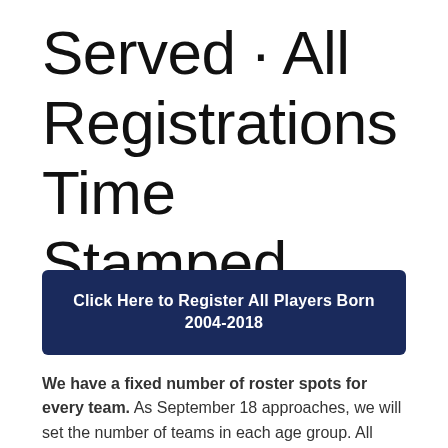Served · All Registrations Time Stamped
Click Here to Register All Players Born 2004-2018
We have a fixed number of roster spots for every team. As September 18 approaches, we will set the number of teams in each age group. All registrations completed by September 18, 2022 will be eligible to be